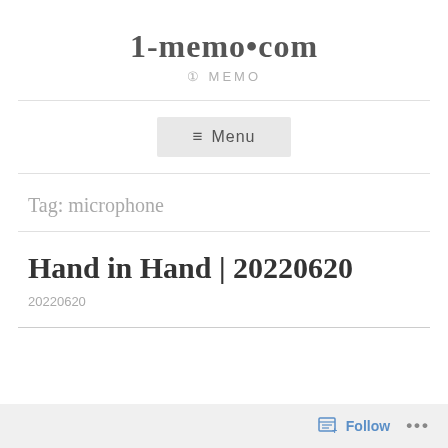1-memo•com
① MEMO
≡ Menu
Tag: microphone
Hand in Hand | 20220620
20220620
Follow ...